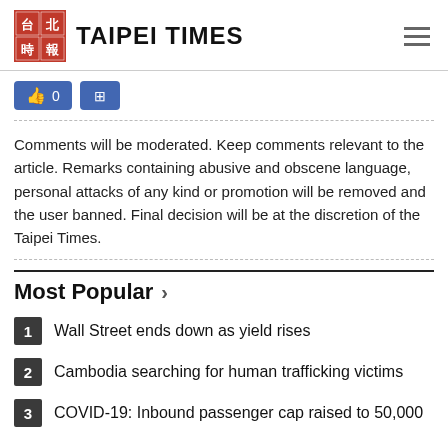TAIPEI TIMES
[Figure (logo): Taipei Times logo with Chinese characters in red square and English text TAIPEI TIMES]
Comments will be moderated. Keep comments relevant to the article. Remarks containing abusive and obscene language, personal attacks of any kind or promotion will be removed and the user banned. Final decision will be at the discretion of the Taipei Times.
Most Popular
1 Wall Street ends down as yield rises
2 Cambodia searching for human trafficking victims
3 COVID-19: Inbound passenger cap raised to 50,000